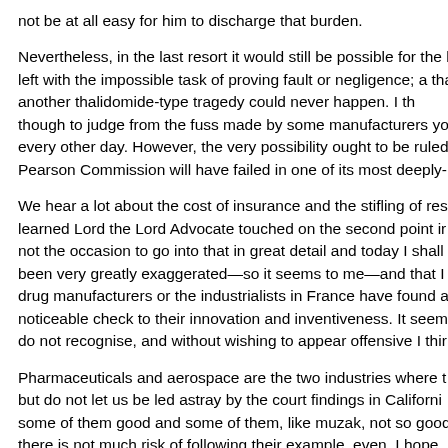not be at all easy for him to discharge that burden.
Nevertheless, in the last resort it would still be possible for the be left with the impossible task of proving fault or negligence; a that another thalidomide-type tragedy could never happen. I th though to judge from the fuss made by some manufacturers yo every other day. However, the very possibility ought to be ruled Pearson Commission will have failed in one of its most deeply-
We hear a lot about the cost of insurance and the stifling of res learned Lord the Lord Advocate touched on the second point ir not the occasion to go into that in great detail and today I shall been very greatly exaggerated—so it seems to me—and that I drug manufacturers or the industrialists in France have found a noticeable check to their innovation and inventiveness. It seem do not recognise, and without wishing to appear offensive I thir
Pharmaceuticals and aerospace are the two industries where t but do not let us be led astray by the court findings in Californi some of them good and some of them, like muzak, not so good there is not much risk of following their example, even. I hope